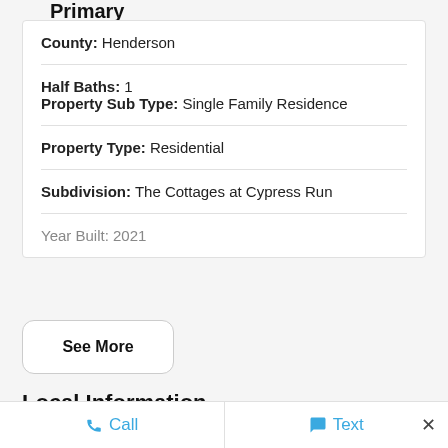Primary
County: Henderson
Half Baths: 1
Property Sub Type: Single Family Residence
Property Type: Residential
Subdivision: The Cottages at Cypress Run
Year Built: 2021
See More
Local Information
Call   Text   ×